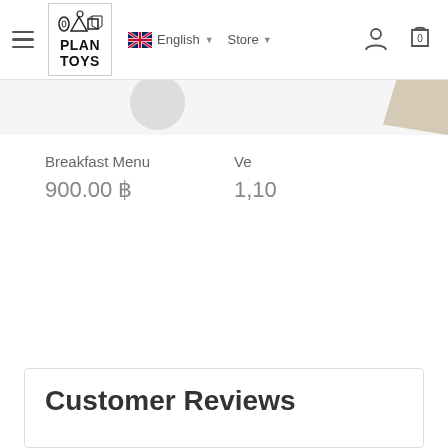PlanToys — English | Store navigation bar
[Figure (screenshot): Partial product images visible at top of page — circular grey shape on left, tan/wooden piece on right]
Breakfast Menu
900.00 ฿
Ve
1,10
Customer Reviews